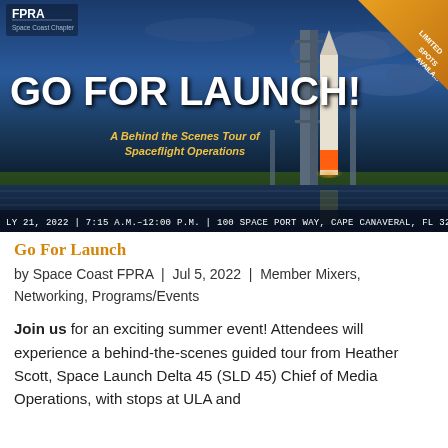[Figure (photo): A behind-the-scenes tour event flyer showing a rocket on launch pad at Cape Canaveral at dusk/dawn, with FPRA Space Coast Chapter logo in top left, 'LIMITED SPOTS AVAILABLE' badge in top right corner, large white bold text 'GO FOR LAUNCH!' overlaid, orange italic subtitle 'A Behind the Scenes Tour of Spaceflight Operations', and a bottom bar with event details: JULY 21, 2022 | 7:15 A.M.–12:00 P.M. | 100 SPACE PORT WAY, CAPE CANAVERAL, FL 329]
Go For Launch
by Space Coast FPRA | Jul 5, 2022 | Member Mixers, Networking, Programs/Events
Join us for an exciting summer event! Attendees will experience a behind-the-scenes guided tour from Heather Scott, Space Launch Delta 45 (SLD 45) Chief of Media Operations, with stops at ULA and